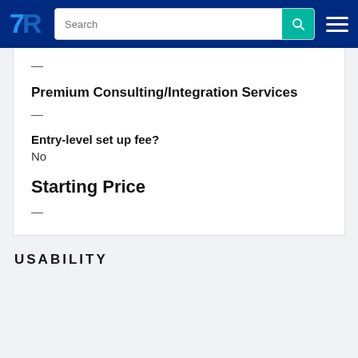TrustRadius navigation bar with search
—
Premium Consulting/Integration Services
—
Entry-level set up fee?
No
Starting Price
—
USABILITY